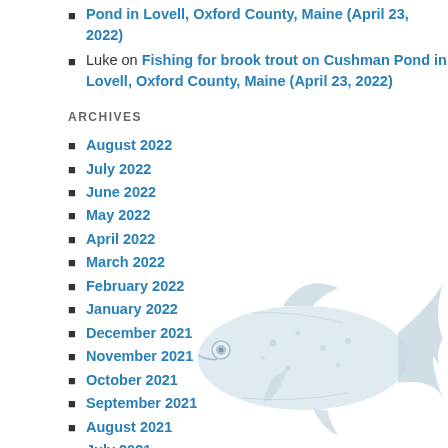Pond in Lovell, Oxford County, Maine (April 23, 2022)
Luke on Fishing for brook trout on Cushman Pond in Lovell, Oxford County, Maine (April 23, 2022)
ARCHIVES
August 2022
July 2022
June 2022
May 2022
April 2022
March 2022
February 2022
January 2022
December 2021
November 2021
October 2021
September 2021
August 2021
July 2021
[Figure (illustration): Illustrated image of a trout/salmon fish in light gray/white tones, positioned in the lower right area of the page]